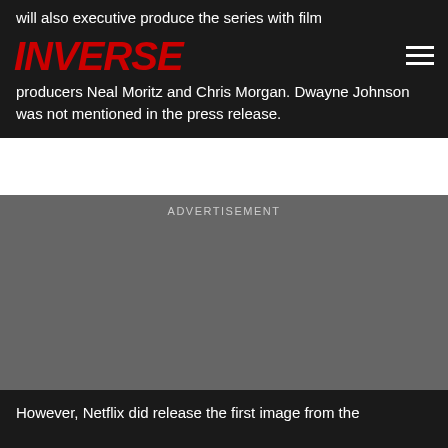will also executive produce the series with film
INVERSE
producers Neal Moritz and Chris Morgan. Dwayne Johnson was not mentioned in the press release.
ADVERTISEMENT
[Figure (other): Advertisement placeholder area — large grey rectangle]
However, Netflix did release the first image from the